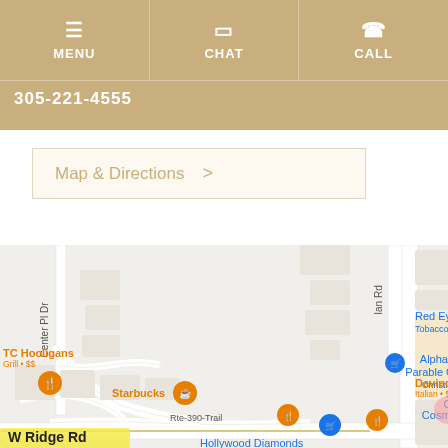MENU  CHAT  CALL
305-221-4555
Map & Directions >
[Figure (map): Google Maps screenshot showing nearby businesses including TC Hooligans Grill, Starbucks, Alpha & Omega - Parable Christian Store (Christian book store), Center for Cosmetic Dentistry, Country Sweet Chicken & Ribs, Davinci of Greece (Italian $$), Red Eye Smoke S (Tobacco). Road labels include W Ridge Rd, Rte-390-Trail, Center Pl Dr, and Ian Rd. Map markers shown in orange and blue.]